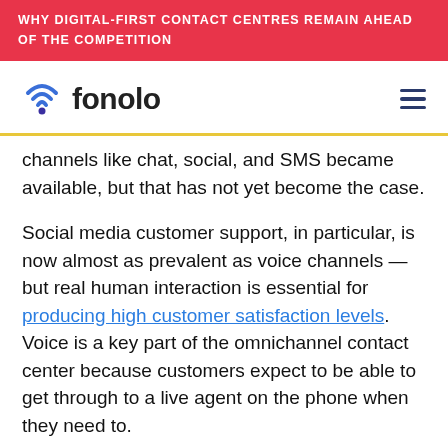WHY DIGITAL-FIRST CONTACT CENTRES REMAIN AHEAD OF THE COMPETITION
[Figure (logo): Fonolo logo with WiFi/location pin icon and the word 'fonolo' in dark text, plus hamburger menu icon on the right]
channels like chat, social, and SMS became available, but that has not yet become the case.
Social media customer support, in particular, is now almost as prevalent as voice channels — but real human interaction is essential for producing high customer satisfaction levels. Voice is a key part of the omnichannel contact center because customers expect to be able to get through to a live agent on the phone when they need to.